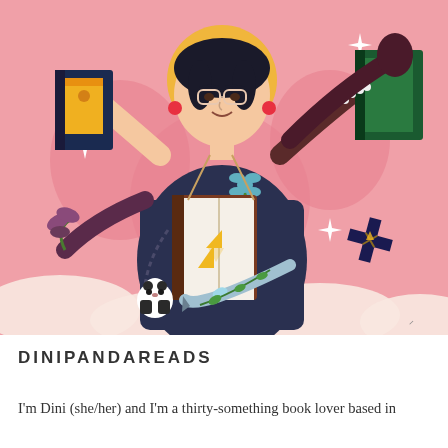[Figure (illustration): A colourful flat illustration of a woman with glasses, dark hair, wearing a dark navy outfit, holding multiple books with many arms in different poses. Surrounding her are fantastical objects: a Zelda triforce book, a ninja star, a panda toy, flowers, sparkle stars, a sword, and various other books, set against a pink background with cloud shapes at the bottom.]
DINIPANDAREADS
I'm Dini (she/her) and I'm a thirty-something book lover based in